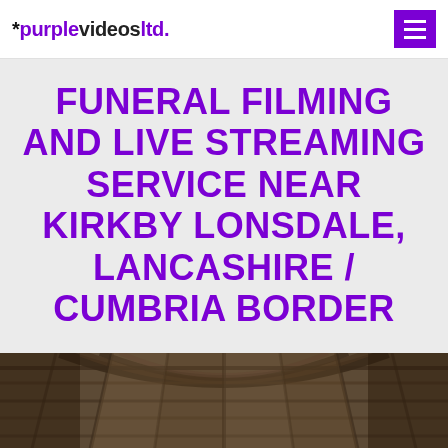*purplevideosltd.
FUNERAL FILMING AND LIVE STREAMING SERVICE NEAR KIRKBY LONSDALE, LANCASHIRE / CUMBRIA BORDER
[Figure (photo): Interior of an old church showing wooden arched ceiling beams and rafters, viewed from below looking upward, with warm light visible.]